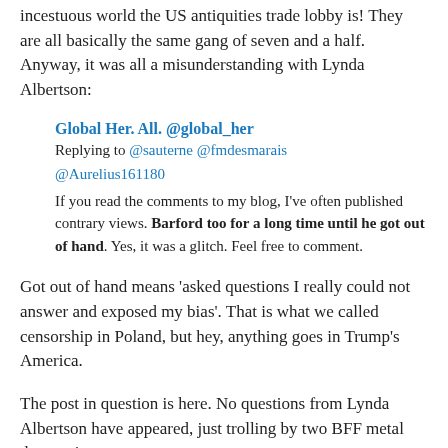incestuous world the US antiquities trade lobby is! They are all basically the same gang of seven and a half. Anyway, it was all a misunderstanding with Lynda Albertson:
Global Her. All. @global_her
Replying to @sauterne @fmdesmarais @Aurelius161180
If you read the comments to my blog, I've often published contrary views. Barford too for a long time until he got out of hand. Yes, it was a glitch. Feel free to comment.
Got out of hand means 'asked questions I really could not answer and exposed my bias'. That is what we called censorship in Poland, but hey, anything goes in Trump's America.
The post in question is here. No questions from Lynda Albertson have appeared, just trolling by two BFF metal detectorists:
Lynda Albertson8 @sauterne  lut
W odpowiedzi do @global_her @fmdesmarais @Aurelius161180